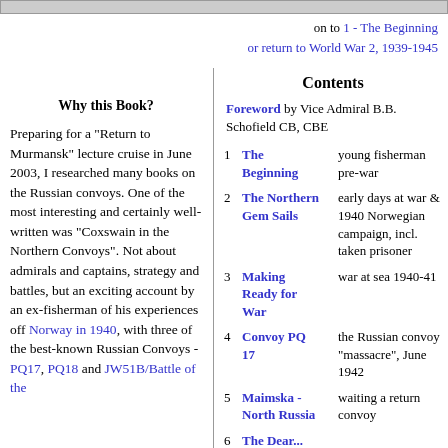on to 1 - The Beginning
or return to World War 2, 1939-1945
Why this Book?
Preparing for a "Return to Murmansk" lecture cruise in June 2003, I researched many books on the Russian convoys. One of the most interesting and certainly well-written was "Coxswain in the Northern Convoys". Not about admirals and captains, strategy and battles, but an exciting account by an ex-fisherman of his experiences off Norway in 1940, with three of the best-known Russian Convoys - PQ17, PQ18 and JW51B/Battle of the
Contents
Foreword by Vice Admiral B.B. Schofield CB, CBE
1 The Beginning — young fisherman pre-war
2 The Northern Gem Sails — early days at war & 1940 Norwegian campaign, incl. taken prisoner
3 Making Ready for War — war at sea 1940-41
4 Convoy PQ 17 — the Russian convoy "massacre", June 1942
5 Maimska - North Russia — waiting a return convoy
6 The Dear...